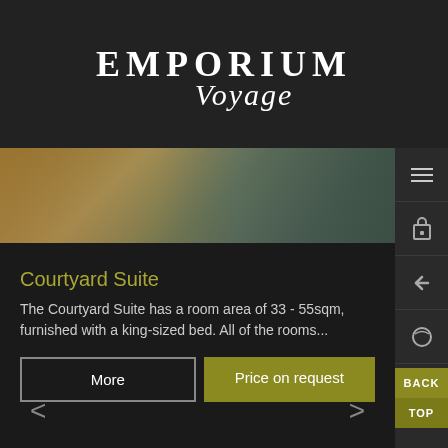EMPORIUM Voyage
[Figure (photo): Hotel room interior photo strip showing wooden floor, a round white object, and a doorway/glass partition]
Courtyard Suite
The Courtyard Suite has a room area of 33 - 55sqm, furnished with a king-sized bed. All of the rooms...
More
Price on request